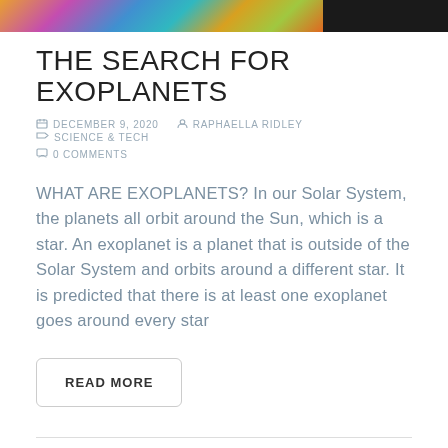[Figure (photo): Top banner with two image sections: a colorful oil/marble swirl pattern on the left (roughly 72% width) and a dark/black rectangle on the right (roughly 28% width)]
THE SEARCH FOR EXOPLANETS
DECEMBER 9, 2020   RAPHAELLA RIDLEY   SCIENCE & TECH   0 COMMENTS
WHAT ARE EXOPLANETS? In our Solar System, the planets all orbit around the Sun, which is a star. An exoplanet is a planet that is outside of the Solar System and orbits around a different star. It is predicted that there is at least one exoplanet goes around every star
READ MORE